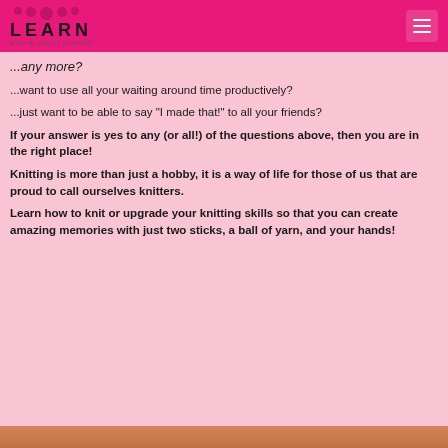LEARN WITH SNEISY ACADEMY
...any more?
...want to use all your waiting around time productively?
...just want to be able to say "I made that!" to all your friends?
If your answer is yes to any (or all!) of the questions above, then you are in the right place!
Knitting is more than just a hobby, it is a way of life for those of us that are proud to call ourselves knitters.
Learn how to knit or upgrade your knitting skills so that you can create amazing memories with just two sticks, a ball of yarn, and your hands!
[Figure (photo): Bottom strip showing a photo partially visible at the bottom of the page]